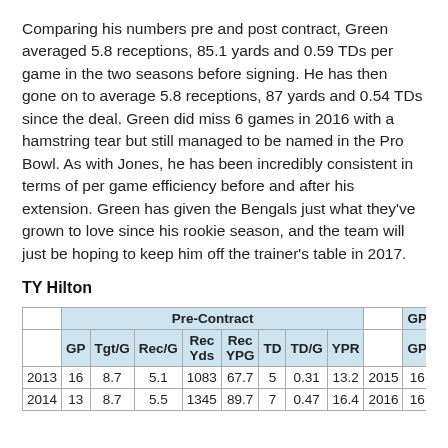Comparing his numbers pre and post contract, Green averaged 5.8 receptions, 85.1 yards and 0.59 TDs per game in the two seasons before signing. He has then gone on to average 5.8 receptions, 87 yards and 0.54 TDs since the deal. Green did miss 6 games in 2016 with a hamstring tear but still managed to be named in the Pro Bowl. As with Jones, he has been incredibly consistent in terms of per game efficiency before and after his extension. Green has given the Bengals just what they've grown to love since his rookie season, and the team will just be hoping to keep him off the trainer's table in 2017.
TY Hilton
|  | Pre-Contract |  |  |  |  |  |  |  |  | GP |
| --- | --- | --- | --- | --- | --- | --- | --- | --- | --- | --- |
|  | GP | Tgt/G | Rec/G | Rec Yds | Rec YPG | TD | TD/G | YPR |  | GP |
| 2013 | 16 | 8.7 | 5.1 | 1083 | 67.7 | 5 | 0.31 | 13.2 | 2015 | 16 |
| 2014 | 13 | 8.7 | 5.5 | 1345 | 89.7 | 7 | 0.47 | 16.4 | 2016 | 16 |